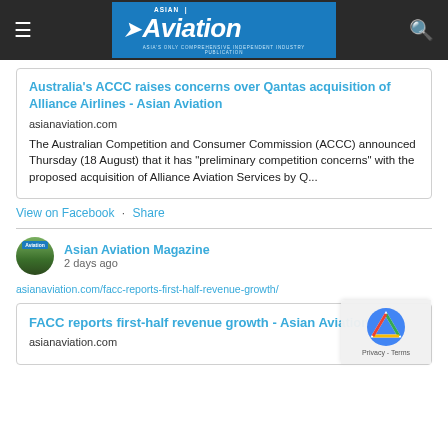Asian Aviation
Australia's ACCC raises concerns over Qantas acquisition of Alliance Airlines - Asian Aviation
asianaviation.com
The Australian Competition and Consumer Commission (ACCC) announced Thursday (18 August) that it has "preliminary competition concerns" with the proposed acquisition of Alliance Aviation Services by Q...
View on Facebook · Share
Asian Aviation Magazine
2 days ago
asianaviation.com/facc-reports-first-half-revenue-growth/
FACC reports first-half revenue growth - Asian Aviation
asianaviation.com